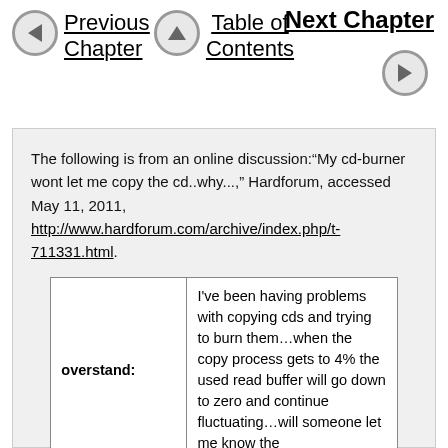Previous Chapter | Table of Contents | Next Chapter
The following is from an online discussion:“My cd-burner wont let me copy the cd..why...,” Hardforum, accessed May 11, 2011, http://www.hardforum.com/archive/index.php/t-711331.html.
|  |  |
| --- | --- |
| overstand: | I’ve been having problems with copying cds and trying to burn them…when the copy process gets to 4% the used read buffer will go down to zero and continue fluctuating…will someone let me know the |